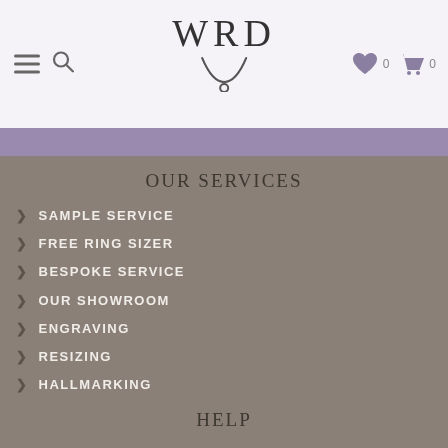WRD — navigation header with hamburger menu, search, wishlist (0), cart (0)
OUR SERVICES
SAMPLE SERVICE
FREE RING SIZER
BESPOKE SERVICE
OUR SHOWROOM
ENGRAVING
RESIZING
HALLMARKING
HELP
DELIVERY
RETURNS
BUYER'S GUIDE
FAQs
CONTACT US